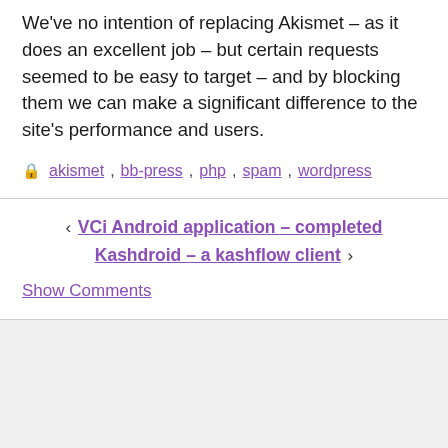We've no intention of replacing Akismet – as it does an excellent job – but certain requests seemed to be easy to target – and by blocking them we can make a significant difference to the site's performance and users.
akismet, bb-press, php, spam, wordpress
‹ VCi Android application – completed
Kashdroid – a kashflow client ›
Show Comments
Share